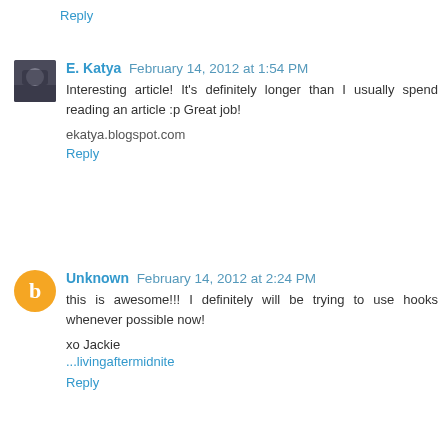Reply
E. Katya  February 14, 2012 at 1:54 PM
Interesting article! It's definitely longer than I usually spend reading an article :p Great job!

ekatya.blogspot.com

Reply
Unknown  February 14, 2012 at 2:24 PM
this is awesome!!! I definitely will be trying to use hooks whenever possible now!

xo Jackie
...livingaftermidnite

Reply